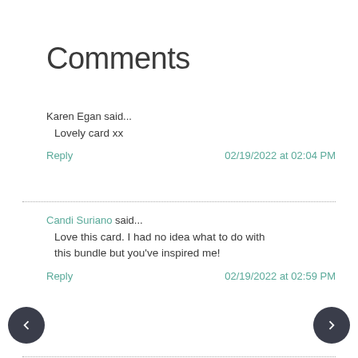Comments
Karen Egan said...
  Lovely card xx
Reply    02/19/2022 at 02:04 PM
Candi Suriano said...
  Love this card. I had no idea what to do with this bundle but you've inspired me!
Reply    02/19/2022 at 02:59 PM